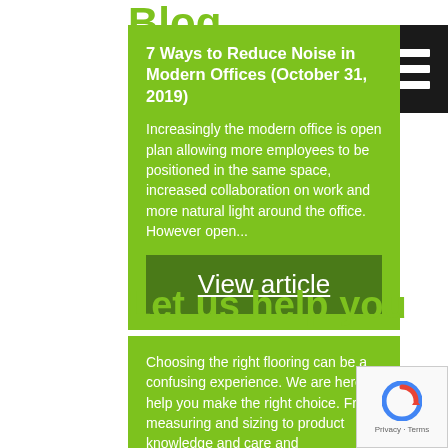Blog
7 Ways to Reduce Noise in Modern Offices (October 31, 2019)
Increasingly the modern office is open plan allowing more employees to be positioned in the same space, increased collaboration on work and more natural light around the office. However open...
View article
[Figure (other): Hamburger menu icon with three white horizontal lines on black background]
Let us help you
Choosing the right flooring can be a confusing experience. We are here to help you make the right choice. From measuring and sizing to product knowledge and care and maintenance we will add that
[Figure (other): reCAPTCHA badge with spinning arrow logo and Privacy - Terms text]